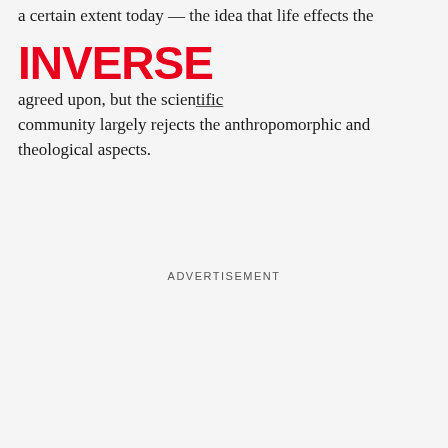a certain extent today — the idea that life effects the movement and is universally agreed upon, but the scientific community largely rejects the anthropomorphic and theological aspects.
[Figure (logo): INVERSE logo in bold red uppercase letters]
ADVERTISEMENT